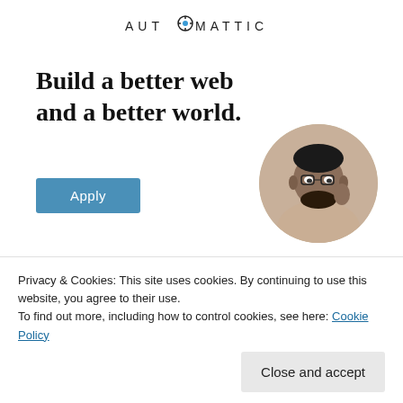[Figure (logo): Automattic logo with gear icon replacing the O]
Build a better web and a better world.
[Figure (photo): Circular cropped photo of a man with glasses looking up thoughtfully, wearing a beige shirt, sitting at a desk]
Apply
REPORT THIS AD
[Figure (photo): Circular profile photo of Deepika Shankar]
Deepika Shankar
Privacy & Cookies: This site uses cookies. By continuing to use this website, you agree to their use.
To find out more, including how to control cookies, see here: Cookie Policy
Close and accept
Liked by 7 people